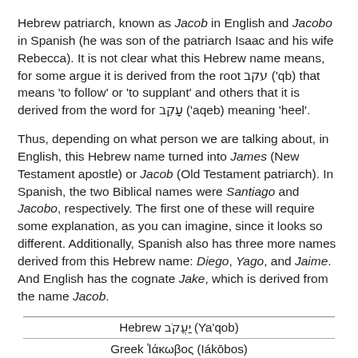Hebrew patriarch, known as Jacob in English and Jacobo in Spanish (he was son of the patriarch Isaac and his wife Rebecca). It is not clear what this Hebrew name means, for some argue it is derived from the root עקב ('qb) that means 'to follow' or 'to supplant' and others that it is derived from the word for עָקֵב ('aqeb) meaning 'heel'.
Thus, depending on what person we are talking about, in English, this Hebrew name turned into James (New Testament apostle) or Jacob (Old Testament patriarch). In Spanish, the two Biblical names were Santiago and Jacobo, respectively. The first one of these will require some explanation, as you can imagine, since it looks so different. Additionally, Spanish also has three more names derived from this Hebrew name: Diego, Yago, and Jaime. And English has the cognate Jake, which is derived from the name Jacob.
| Hebrew יַעֲקֹב (Ya'qob) |
| Greek Ἰάκωβος (Iákōbos) |
| Lat. Iacobus | V.Lat. Iacomus |
| Sp. Yago   Jacobo   Sp. Jaime |